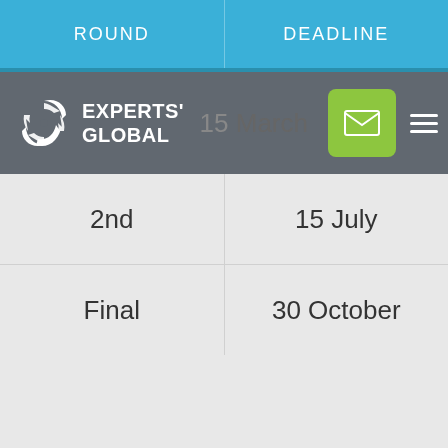| ROUND | DEADLINE |
| --- | --- |
| 1st | 15 March |
| 2nd | 15 July |
| Final | 30 October |
[Figure (logo): Experts' Global logo with circular arrow icon and company name]